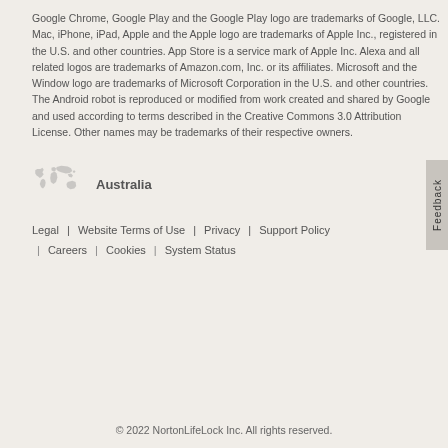Google Chrome, Google Play and the Google Play logo are trademarks of Google, LLC. Mac, iPhone, iPad, Apple and the Apple logo are trademarks of Apple Inc., registered in the U.S. and other countries. App Store is a service mark of Apple Inc. Alexa and all related logos are trademarks of Amazon.com, Inc. or its affiliates. Microsoft and the Window logo are trademarks of Microsoft Corporation in the U.S. and other countries. The Android robot is reproduced or modified from work created and shared by Google and used according to terms described in the Creative Commons 3.0 Attribution License. Other names may be trademarks of their respective owners.
[Figure (illustration): Small gray world map globe icon]
Australia
Legal  |  Website Terms of Use  |  Privacy  |  Support Policy  |  Careers  |  Cookies  |  System Status
© 2022 NortonLifeLock Inc. All rights reserved.